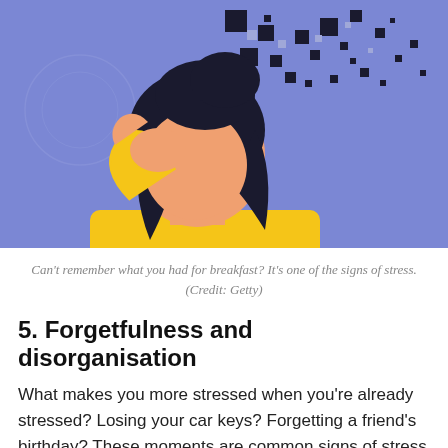[Figure (illustration): Illustration of a person with dark hair wearing a yellow top, hand raised to their face in a stressed pose, with dark pixel/square fragments dispersing from the top of their head against a purple/lavender background.]
Can't remember what you had for breakfast? It's one of the signs of stress. (Credit: Getty)
5. Forgetfulness and disorganisation
What makes you more stressed when you're already stressed? Losing your car keys? Forgetting a friend's birthday? These moments are common signs of stress